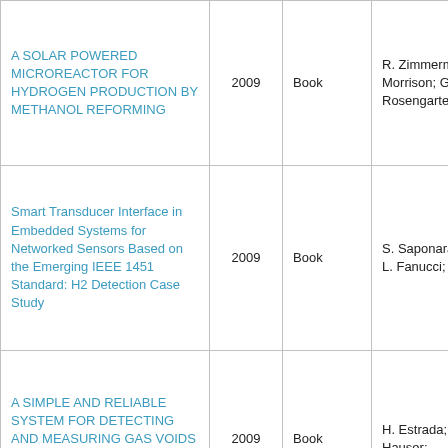| Title | Year | Type | Authors |
| --- | --- | --- | --- |
| A SOLAR POWERED MICROREACTOR FOR HYDROGEN PRODUCTION BY METHANOL REFORMING | 2009 | Book | R. Zimmerman; G. Morrison; G. Rosengarten; |
| Smart Transducer Interface in Embedded Systems for Networked Sensors Based on the Emerging IEEE 1451 Standard: H2 Detection Case Study | 2009 | Book | S. Saponara; E. Petri; L. Fanucci; P. Terreni |
| A SIMPLE AND RELIABLE SYSTEM FOR DETECTING AND MEASURING GAS VOIDS IN SAFETY-RELATED FLUID SYSTEMS | 2009 | Book | H. Estrada; E.M. Hauser; |